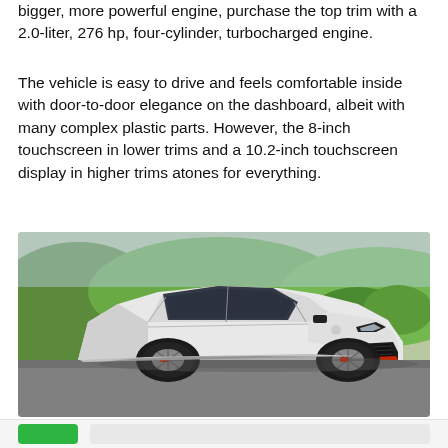bigger, more powerful engine, purchase the top trim with a 2.0-liter, 276 hp, four-cylinder, turbocharged engine.
The vehicle is easy to drive and feels comfortable inside with door-to-door elegance on the dashboard, albeit with many complex plastic parts. However, the 8-inch touchscreen in lower trims and a 10.2-inch touchscreen display in higher trims atones for everything.
[Figure (photo): A white and black Hyundai Elantra N sedan with red accents on the front splitter, photographed outdoors on a parking lot with green hills and trees in the background.]